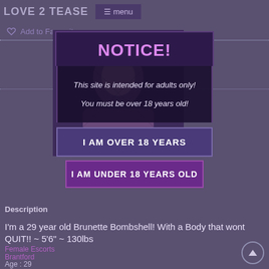LOVE 2 TEASE  ≡ menu
Add to Favourites
NOTICE!
This site is intended for adults only!
You must be over 18 years old!
I AM OVER 18 YEARS
I AM UNDER 18 YEARS OLD
Description
I'm a 29 year old Brunette Bombshell! With a Body that wont QUIT!! ~ 5'6" ~ 130lbs
Female Escorts
Brantford
Age : 29